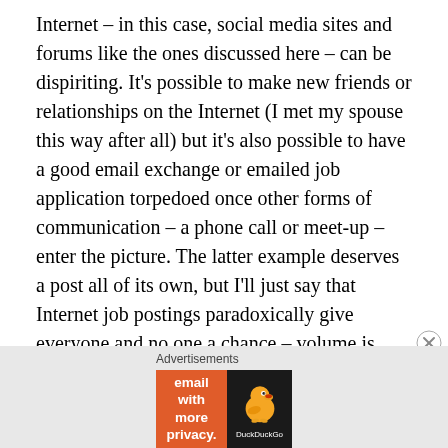Internet – in this case, social media sites and forums like the ones discussed here – can be dispiriting. It's possible to make new friends or relationships on the Internet (I met my spouse this way after all) but it's also possible to have a good email exchange or emailed job application torpedoed once other forms of communication – a phone call or meet-up – enter the picture. The latter example deserves a post all of its own, but I'll just say that Internet job postings paradoxically give everyone and no one a chance – volume is often so high that candidates who have put in more legwork in the physical world – met the right people, gone to the right seminars – are best differentiated.
Advertisements
[Figure (infographic): DuckDuckGo advertisement banner: orange left panel with white text 'Search, browse, and email with more privacy. All in One Free App' and dark right panel with DuckDuckGo duck logo and text 'DuckDuckGo']